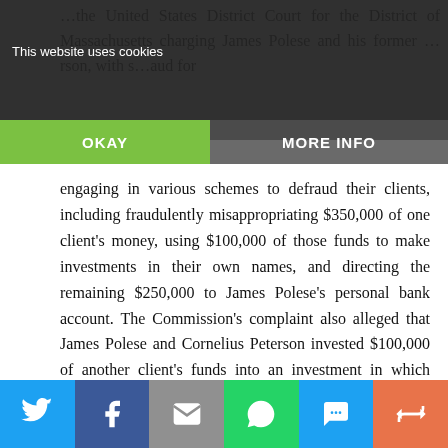This website uses cookies
engaging in various schemes to defraud their clients, including fraudulently misappropriating $350,000 of one client's money, using $100,000 of those funds to make investments in their own names, and directing the remaining $250,000 to James Polese's personal bank account. The Commission's complaint also alleged that James Polese and Cornelius Peterson invested $100,000 of another client's funds into an investment in which Cornelius Peterson and James Polese held a financial interest, without informing the client or disclosing their conflict of interest.
The Court has now entered a final judgment against
Social share bar: Twitter, Facebook, Email, WhatsApp, SMS, Share